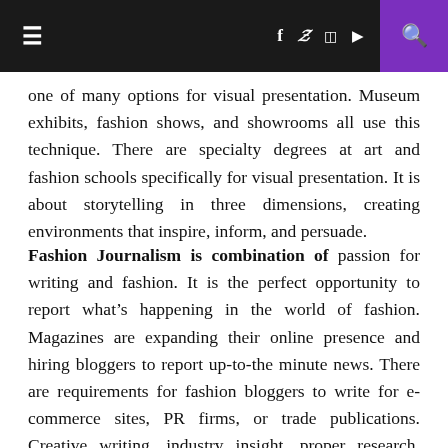≡  f  𝕏  📷  ▶  🔍
one of many options for visual presentation. Museum exhibits, fashion shows, and showrooms all use this technique. There are specialty degrees at art and fashion schools specifically for visual presentation. It is about storytelling in three dimensions, creating environments that inspire, inform, and persuade.
Fashion Journalism is combination of passion for writing and fashion. It is the perfect opportunity to report what's happening in the world of fashion. Magazines are expanding their online presence and hiring bloggers to report up-to-the minute news. There are requirements for fashion bloggers to write for e-commerce sites, PR firms, or trade publications. Creative writing, industry insight, proper research, rhetorical & interviewing skills and capability to network with industry experts etc. are